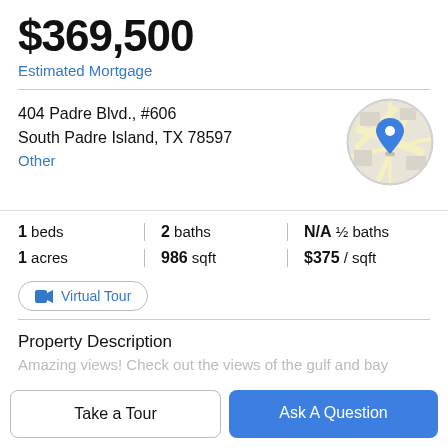$369,500
Estimated Mortgage
404 Padre Blvd., #606
South Padre Island, TX 78597
Other
[Figure (map): Circular map thumbnail showing street map with blue location pin marker]
| 1 beds | 2 baths | N/A ½ baths |
| 1 acres | 986 sqft | $375 / sqft |
Virtual Tour
Property Description
Amazing views! Check out the views of the gulf and bay
Take a Tour
Ask A Question